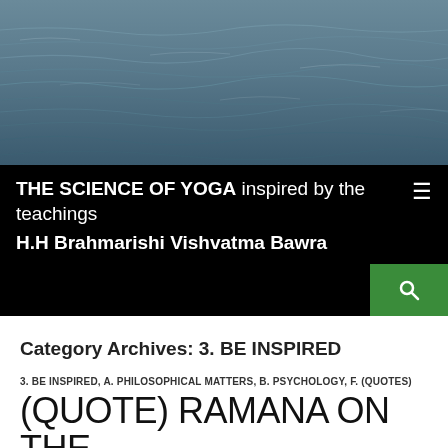[Figure (photo): Ocean water surface with dark blue-grey waves, aerial or close-up view]
THE SCIENCE OF YOGA inspired by the teachings of H.H Brahmarishi Vishvatma Bawra
Category Archives: 3. BE INSPIRED
3. BE INSPIRED, A. PHILOSOPHICAL MATTERS, B. PSYCHOLOGY, F. (QUOTES)
(QUOTE) RAMANA ON THE NATURE OF THOUGHT